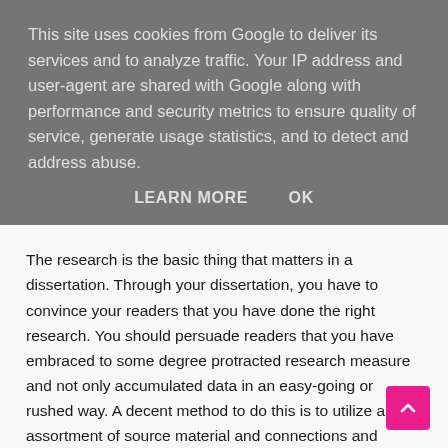This site uses cookies from Google to deliver its services and to analyze traffic. Your IP address and user-agent are shared with Google along with performance and security metrics to ensure quality of service, generate usage statistics, and to detect and address abuse.
LEARN MORE    OK
The research is the basic thing that matters in a dissertation. Through your dissertation, you have to convince your readers that you have done the right research. You should persuade readers that you have embraced to some degree protracted research measure and not only accumulated data in an easy-going or rushed way. A decent method to do this is to utilize a wide assortment of source material and connections and allude to them much of the time all through your writing. The best dissertations show a reliable perspective to the writer. In the beginning phases of arranging your dissertation, you ought to consider what specific point you will take on your theme and attempt to build up a general contention that can be conveyed